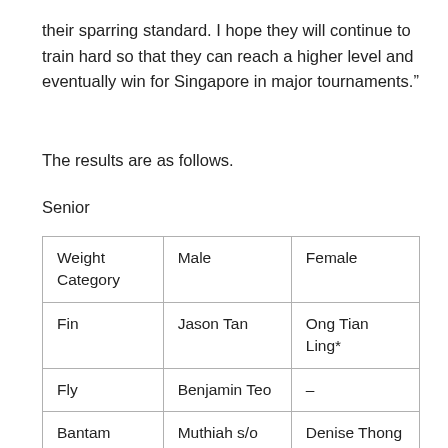their sparring standard. I hope they will continue to train hard so that they can reach a higher level and eventually win for Singapore in major tournaments.”
The results are as follows.
Senior
| Weight Category | Male | Female |
| --- | --- | --- |
| Fin | Jason Tan | Ong Tian Ling* |
| Fly | Benjamin Teo | – |
| Bantam | Muthiah s/o Ponmani | Denise Thong |
| Feather | Woon Yong Chuang* | – |